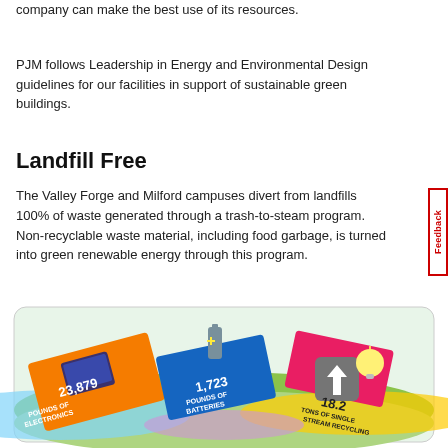company can make the best use of its resources.
PJM follows Leadership in Energy and Environmental Design guidelines for our facilities in support of sustainable green buildings.
Landfill Free
The Valley Forge and Milford campuses divert from landfills 100% of waste generated through a trash-to-steam program. Non-recyclable waste material, including food garbage, is turned into green renewable energy through this program.
[Figure (infographic): Infographic showing recycling statistics: 23,879 pounds of electronics, 1,723 pounds of batteries, 18.2 tons of single stream recycling, with illustrated icons of electronic devices, batteries, and a lightbulb on a colorful landscape.]